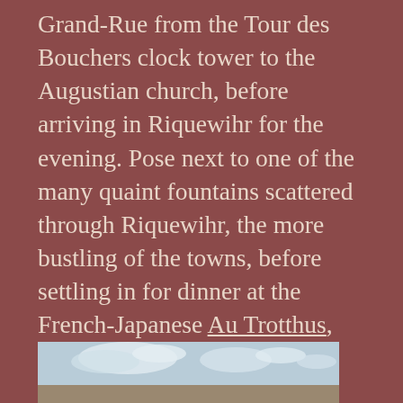Grand-Rue from the Tour des Bouchers clock tower to the Augustian church, before arriving in Riquewihr for the evening. Pose next to one of the many quaint fountains scattered through Riquewihr, the more bustling of the towns, before settling in for dinner at the French-Japanese Au Trotthus, which specializes in fusion dishes like tuna tartare with ponzu sauce and wasabi cream. Once you've had your fill, check into Hotel l'Oriel for the night, conveniently located in the city center.
[Figure (photo): Outdoor photo showing a sky with clouds, likely a town or landscape scene in Riquewihr or Alsace region]